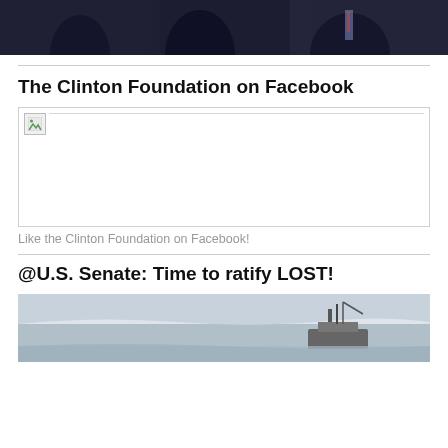[Figure (photo): Dark photo strip showing people in formal/military attire at top of page]
The Clinton Foundation on Facebook
[Figure (screenshot): Facebook widget/plugin embed area — broken image icon visible in top-left corner, widget failed to load]
Like the Clinton Foundation on Facebook!
@U.S. Senate: Time to ratify LOST!
[Figure (photo): Snowy/icy seascape with a ship or vessel visible on the right side]